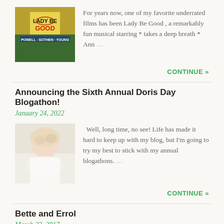[Figure (photo): Movie poster thumbnail for Lady Be Good]
For years now, one of my favorite underrated films has been Lady Be Good , a remarkably fun musical starring * takes a deep breath * Ann …
CONTINUE »
Announcing the Sixth Annual Doris Day Blogathon!
January 24, 2022
[Figure (photo): Photo of Doris Day looking upward]
Well, long time, no see! Life has made it hard to keep up with my blog, but I'm going to try my best to stick with my annual blogathons. …
CONTINUE »
Bette and Errol
March 23, 2017